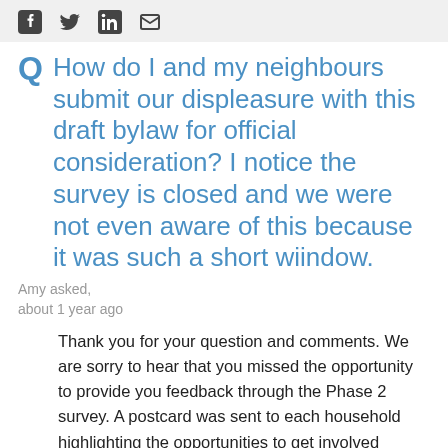[Social share icons: Facebook, Twitter, LinkedIn, Email]
How do I and my neighbours submit our displeasure with this draft bylaw for official consideration? I notice the survey is closed and we were not even aware of this because it was such a short wiindow.
Amy asked,
about 1 year ago
Thank you for your question and comments. We are sorry to hear that you missed the opportunity to provide you feedback through the Phase 2 survey. A postcard was sent to each household highlighting the opportunities to get involved including the survey (open for 4 weeks) and virtual